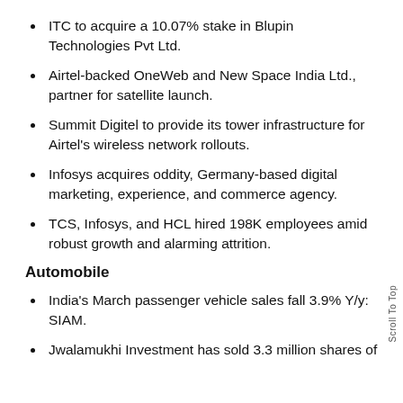ITC to acquire a 10.07% stake in Blupin Technologies Pvt Ltd.
Airtel-backed OneWeb and New Space India Ltd., partner for satellite launch.
Summit Digitel to provide its tower infrastructure for Airtel's wireless network rollouts.
Infosys acquires oddity, Germany-based digital marketing, experience, and commerce agency.
TCS, Infosys, and HCL hired 198K employees amid robust growth and alarming attrition.
Automobile
India's March passenger vehicle sales fall 3.9% Y/y: SIAM.
Jwalamukhi Investment has sold 3.3 million shares of